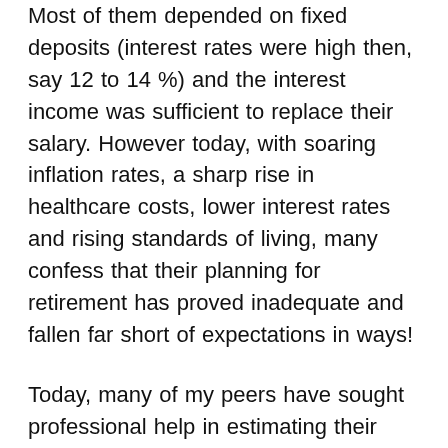Most of them depended on fixed deposits (interest rates were high then, say 12 to 14 %) and the interest income was sufficient to replace their salary. However today, with soaring inflation rates, a sharp rise in healthcare costs, lower interest rates and rising standards of living, many confess that their planning for retirement has proved inadequate and fallen far short of expectations in ways!
Today, many of my peers have sought professional help in estimating their expenses after retirement while some have used their own matrix to make the calculation. Of course, identifying the source for this cash flow is the next step. With the number of investment products currently on the table, retirement plan options are many. But plan and invest with care